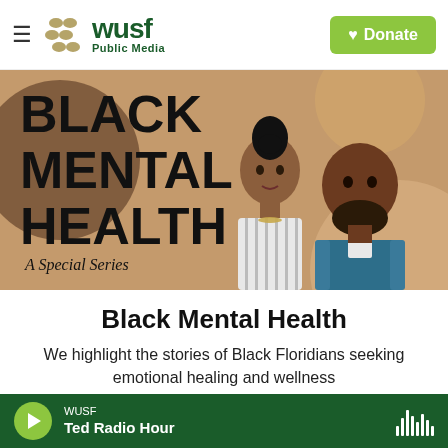WUSF Public Media | Donate
[Figure (illustration): Black Mental Health: A Special Series promotional illustration showing two illustrated Black figures (a woman in striped top and a bearded man in blue jacket) on a tan/brown background with decorative circles]
Black Mental Health
We highlight the stories of Black Floridians seeking emotional healing and wellness
WUSF | Ted Radio Hour